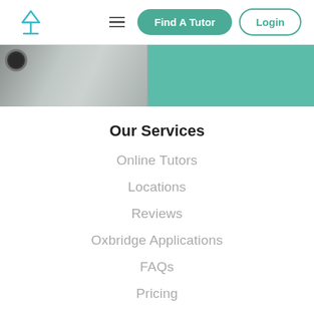[Figure (screenshot): Navigation bar with lamp logo, hamburger menu, Find A Tutor button, and Login button]
[Figure (photo): Partial hero image showing silver iPhone and teal/green background]
Our Services
Online Tutors
Locations
Reviews
Oxbridge Applications
FAQs
Pricing
Our Company
Our Story